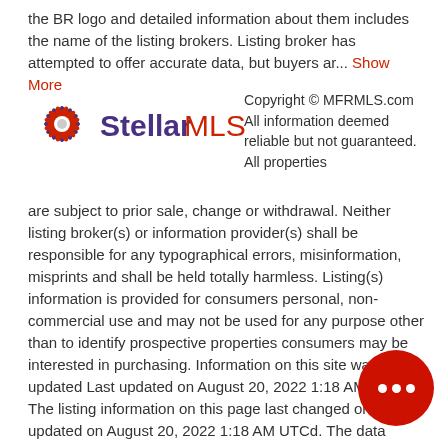the BR logo and detailed information about them includes the name of the listing brokers. Listing broker has attempted to offer accurate data, but buyers ar... Show More
[Figure (logo): Stellar MLS logo — starburst icon in purple and red with text 'Stellar MLS']
Copyright © MFRMLS.com All information deemed reliable but not guaranteed. All properties are subject to prior sale, change or withdrawal. Neither listing broker(s) or information provider(s) shall be responsible for any typographical errors, misinformation, misprints and shall be held totally harmless. Listing(s) information is provided for consumers personal, non-commercial use and may not be used for any purpose other than to identify prospective properties consumers may be interested in purchasing. Information on this site was last updated Last updated on August 20, 2022 1:18 AM UTC The listing information on this page last changed on Last updated on August 20, 2022 1:18 AM UTCd. The data relating to real estate for sale on this website comes in part from the Internet Data Exchange program of MFR MLS. All information deemed reliable but not guaranteed. All properties are subject to prior sale, change or withdrawal. Neither listing broker(s) or information provider(s)